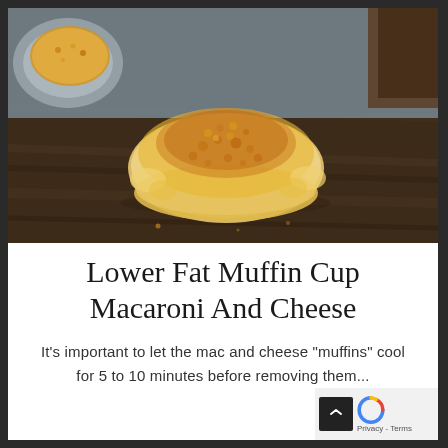[Figure (photo): A mac and cheese muffin cup sitting on a dark wooden surface, golden and cheesy on top with breadcrumbs, with a muffin tin visible in the background]
Lower Fat Muffin Cup Macaroni And Cheese
It's important to let the mac and cheese "muffins" cool for 5 to 10 minutes before removing them...